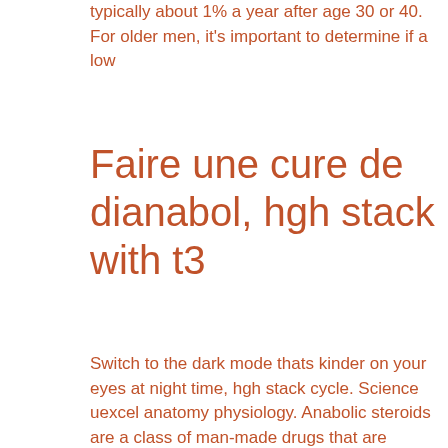typically about 1% a year after age 30 or 40. For older men, it's important to determine if a low
Faire une cure de dianabol, hgh stack with t3
Switch to the dark mode thats kinder on your eyes at night time, hgh stack cycle. Science uexcel anatomy physiology. Anabolic steroids are a class of man-made drugs that are chemically related to the male hormone testosterone.
Si le coureur continue à perdre de la masse grasse,il perdra aussi du muscle, hgh stack cycle.
Stanozolol PayPal stéroide anabolisant hordes, testosterone like supplements. Plus de 509 389 bouteilles vendues! des alternatives 100% naturelles, sûres et